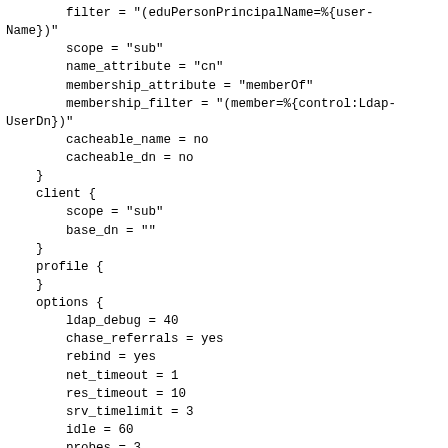filter = "(eduPersonPrincipalName=%{user-Name})"
        scope = "sub"
        name_attribute = "cn"
        membership_attribute = "memberOf"
        membership_filter = "(member=%{control:Ldap-UserDn})"
        cacheable_name = no
        cacheable_dn = no
    }
    client {
        scope = "sub"
        base_dn = ""
    }
    profile {
    }
    options {
        ldap_debug = 40
        chase_referrals = yes
        rebind = yes
        net_timeout = 1
        res_timeout = 10
        srv_timelimit = 3
        idle = 60
        probes = 3
        interval = 3
    }
    tls {
        ca_file = "/etc/openldap/certs/ldap_certs.pem"
        start_tls = no
        require_cert = "demand"